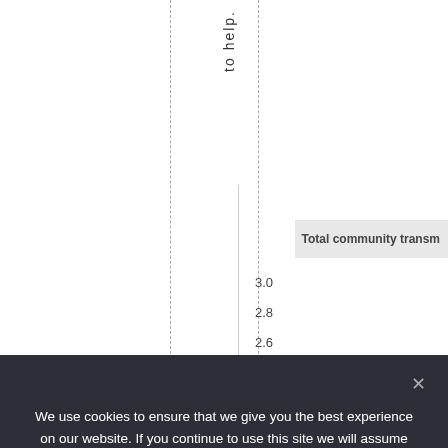to help.
[Figure (continuous-plot): Partial view of a scientific chart with dashed vertical lines, a solid vertical axis line, and y-axis values 3.0, 2.8, 2.6 visible. Header row shows 'Total community transm...']
Total community transm